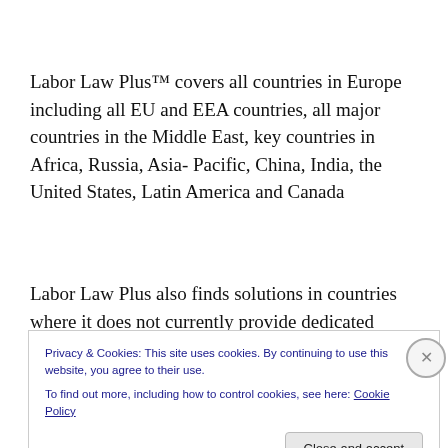Labor Law Plus™ covers all countries in Europe including all EU and EEA countries, all major countries in the Middle East, key countries in Africa, Russia, Asia- Pacific, China, India, the United States, Latin America and Canada
Labor Law Plus also finds solutions in countries where it does not currently provide dedicated coverage through an
Privacy & Cookies: This site uses cookies. By continuing to use this website, you agree to their use.
To find out more, including how to control cookies, see here: Cookie Policy